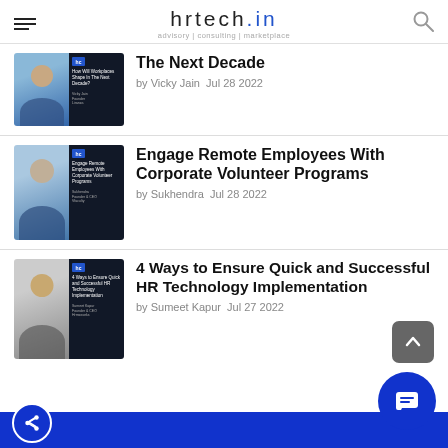hrtech.in — advisory | consulting | marketplace
[Figure (screenshot): Article thumbnail with person photo and dark card for 'The Next Decade']
The Next Decade
by Vicky Jain  Jul 28 2022
[Figure (screenshot): Article thumbnail with person photo and dark card for 'Engage Remote Employees With Corporate Volunteer Programs']
Engage Remote Employees With Corporate Volunteer Programs
by Sukhendra  Jul 28 2022
[Figure (screenshot): Article thumbnail with person photo and dark card for '4 Ways to Ensure Quick and Successful HR Technology Implementation']
4 Ways to Ensure Quick and Successful HR Technology Implementation
by Sumeet Kapur  Jul 27 2022